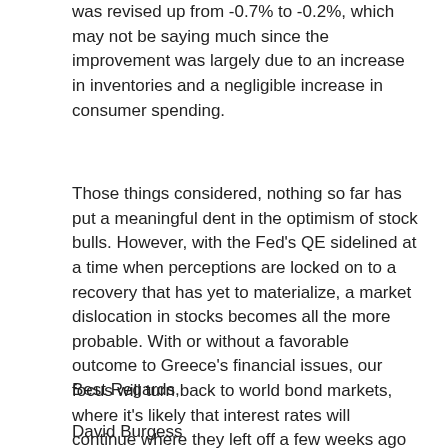was revised up from -0.7% to -0.2%, which may not be saying much since the improvement was largely due to an increase in inventories and a negligible increase in consumer spending.
Those things considered, nothing so far has put a meaningful dent in the optimism of stock bulls. However, with the Fed's QE sidelined at a time when perceptions are locked on to a recovery that has yet to materialize, a market dislocation in stocks becomes all the more probable. With or without a favorable outcome to Greece's financial issues, our focus will turn back to world bond markets, where it's likely that interest rates will continue where they left off a few weeks ago – moving higher. At some point, the gold market will recognize this trend for what it is – inflationary and/or a precursor to a funding crisis – but at the moment optimism has blinded folks to that fact.
Best Regards,
David Burgess